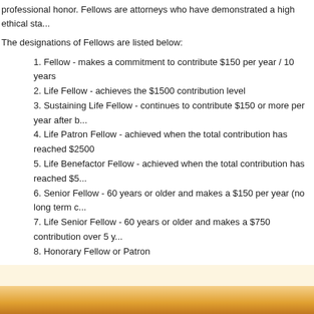professional honor. Fellows are attorneys who have demonstrated a high ethical sta...
The designations of Fellows are listed below:
1. Fellow - makes a commitment to contribute $150 per year / 10 years
2. Life Fellow - achieves the $1500 contribution level
3. Sustaining Life Fellow - continues to contribute $150 or more per year after b...
4. Life Patron Fellow - achieved when the total contribution has reached $2500
5. Life Benefactor Fellow - achieved when the total contribution has reached $5...
6. Senior Fellow - 60 years or older and makes a $150 per year (no long term c...
7. Life Senior Fellow - 60 years or older and makes a $750 contribution over 5 y...
8. Honorary Fellow or Patron
The Nomination Process
At the beginning of each year, current DBF Fellows may nominate attorneys to be ele... nominee receives an invitation to submit a Fellows Application Form and Fellows Ple... Board of Trustees. Each new DBF Fellow is introduced each year at the Annual Fello...